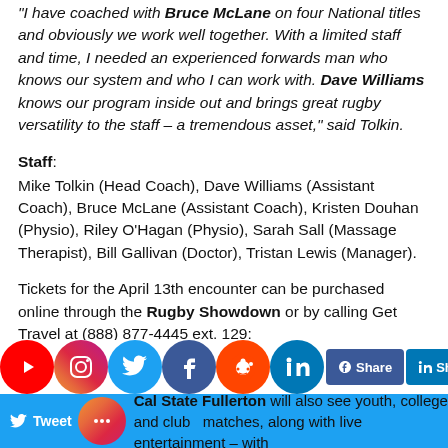"I have coached with Bruce McLane on four National titles and obviously we work well together. With a limited staff and time, I needed an experienced forwards man who knows our system and who I can work with. Dave Williams knows our program inside out and brings great rugby versatility to the staff – a tremendous asset," said Tolkin.
Staff:
Mike Tolkin (Head Coach), Dave Williams (Assistant Coach), Bruce McLane (Assistant Coach), Kristen Douhan (Physio), Riley O'Hagan (Physio), Sarah Sall (Massage Therapist), Bill Gallivan (Doctor), Tristan Lewis (Manager).
Tickets for the April 13th encounter can be purchased online through the Rugby Showdown or by calling Get Travel at (888) 877-4445 ext. 129: Youth $5, Students $10, General Seating $25 and Preferred Seating $35.
Cal State Fullerton will also see youth, college and club matches, along with live entertainment – with